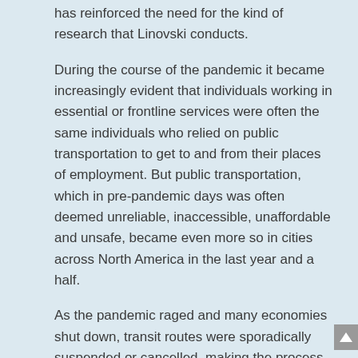has reinforced the need for the kind of research that Linovski conducts.
During the course of the pandemic it became increasingly evident that individuals working in essential or frontline services were often the same individuals who relied on public transportation to get to and from their places of employment. But public transportation, which in pre-pandemic days was often deemed unreliable, inaccessible, unaffordable and unsafe, became even more so in cities across North America in the last year and a half.
As the pandemic raged and many economies shut down, transit routes were sporadically suspended or cancelled, making the process of getting to work —for those who had to get to work—more of a challenge than usual. The suspension or rerouting of some services also